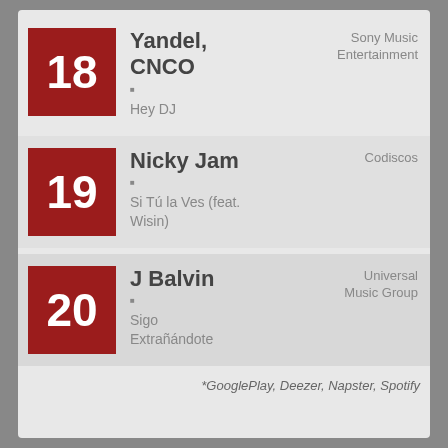18 - Yandel, CNCO - Hey DJ - Sony Music Entertainment
19 - Nicky Jam - Si Tú la Ves (feat. Wisin) - Codiscos
20 - J Balvin - Sigo Extrañándote - Universal Music Group
*GooglePlay, Deezer, Napster, Spotify